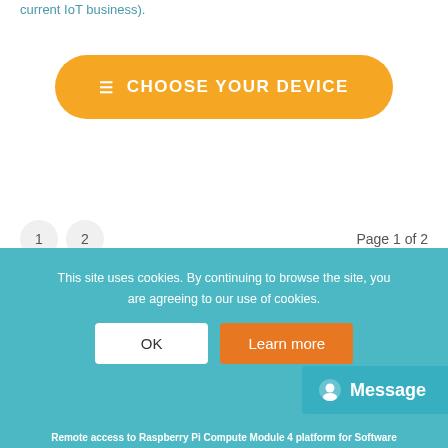current IoT business).
CHOOSE YOUR DEVICE
1  2    Page 1 of 2
This site uses cookies. By continuing to browse the site, you are agreeing to our use of cookies.
OK
Learn more
Message
Remote access to Raspberry Pi Compute Module 4 platform for Software